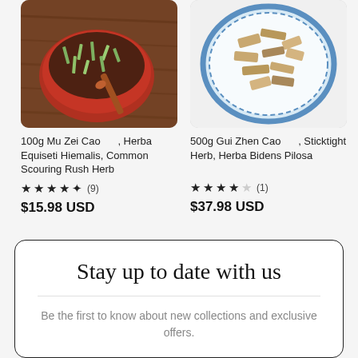[Figure (photo): Red bowl with dried herb (Mu Zei Cao / Scouring Rush Herb) on wooden background]
[Figure (photo): Blue plate with dried herb chips (Gui Zhen Cao / Sticktight Herb) on white background]
100g Mu Zei Cao , Herba Equiseti Hiemalis, Common Scouring Rush Herb
500g Gui Zhen Cao , Sticktight Herb, Herba Bidens Pilosa
★ ★ ★ ★ ✦ (9)
★ ★ ★ ★ ☆ (1)
$15.98 USD
$37.98 USD
Stay up to date with us
Be the first to know about new collections and exclusive offers.